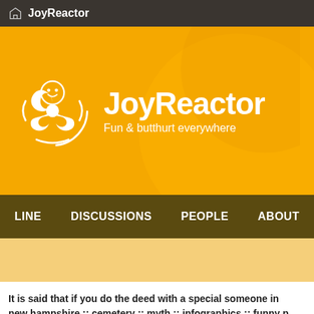JoyReactor
[Figure (logo): JoyReactor website banner with biohazard smiley logo, title 'JoyReactor', subtitle 'Fun & butthurt everywhere' on orange background]
LINE   DISCUSSIONS   PEOPLE   ABOUT
It is said that if you do the deed with a special someone in new hampshire :: cemetery :: myth :: infographics :: funny p
anon